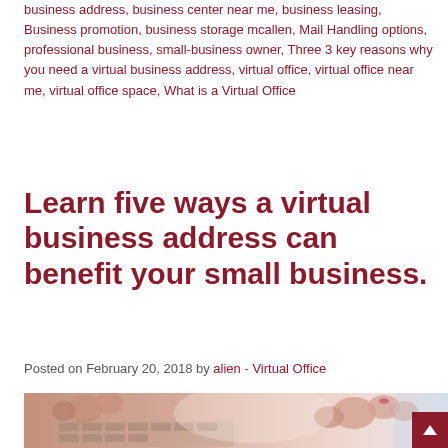business address, business center near me, business leasing, Business promotion, business storage mcallen, Mail Handling options, professional business, small-business owner, Three 3 key reasons why you need a virtual business address, virtual office, virtual office near me, virtual office space, What is a Virtual Office
Learn five ways a virtual business address can benefit your small business.
Posted on February 20, 2018 by alien - Virtual Office
[Figure (photo): Close-up photo of hands typing on a keyboard, warm tones, blurred background]